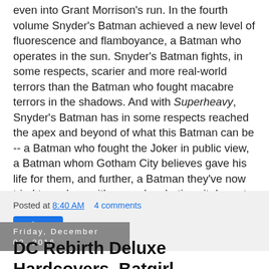even into Grant Morrison's run. In the fourth volume Snyder's Batman achieved a new level of fluorescence and flamboyance, a Batman who operates in the sun. Snyder's Batman fights, in some respects, scarier and more real-world terrors than the Batman who fought macabre terrors in the shadows. And with Superheavy, Snyder's Batman has in some respects reached the apex and beyond of what this Batman can be -- a Batman who fought the Joker in public view, a Batman whom Gotham City believes gave his life for them, and further, a Batman they've now tried to replace with a gaudy robotic suit. In part one of Snyder's denouement, he's no doubt purposefully stretched these concepts as far as they will go.
Posted at 8:40 AM    4 comments
Share
Friday, December 02, 2016
DC Rebirth Deluxe Hardcovers, Batgirl Stephanie Brown, Batman Year Two,